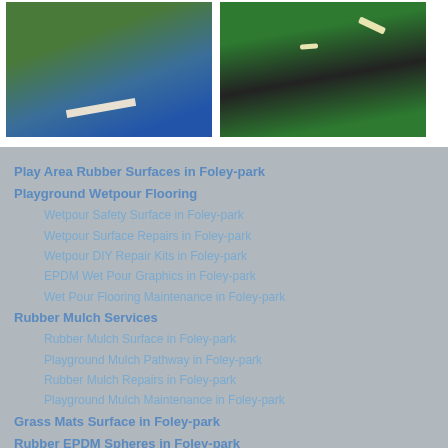[Figure (photo): Close-up photo of a colorful rubber playground surface with blue and green colors, a wooden stick visible]
[Figure (photo): Close-up photo of a dark rubber playground surface with road markings and a bee graphic]
Play Area Rubber Surfaces in Foley-park
Playground Wetpour Flooring
Wetpour Safety Surface in Foley-park
Wetpour Surface Repairs in Foley-park
Wetpour DIY Repair Kits in Foley-park
EPDM Wet Pour Graphics in Foley-park
Wet Pour Flooring Maintenance in Foley-park
Rubber Mulch Services
Rubber Mulch Surface in Foley-park
Playground Mulch Pathway in Foley-park
Rubber Mulch Repairs in Foley-park
Playground Mulch Maintenance in Foley-park
Grass Mats Surface in Foley-park
Rubber EPDM Spheres in Foley-park
Play Area Flooring Tests in Foley-park
By © Playground Rubber Safety Surfacing